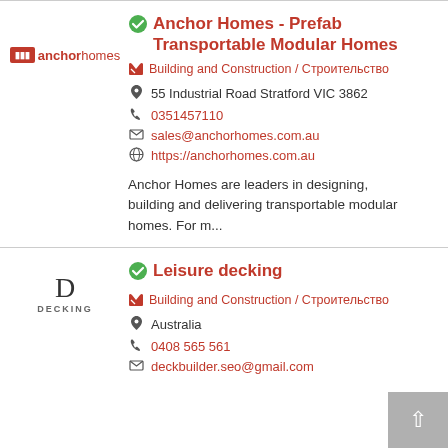Anchor Homes - Prefab Transportable Modular Homes
Building and Construction / Строительство
55 Industrial Road Stratford VIC 3862
0351457110
sales@anchorhomes.com.au
https://anchorhomes.com.au
Anchor Homes are leaders in designing, building and delivering transportable modular homes. For m...
Leisure decking
Building and Construction / Строительство
Australia
0408 565 561
deckbuilder.seo@gmail.com